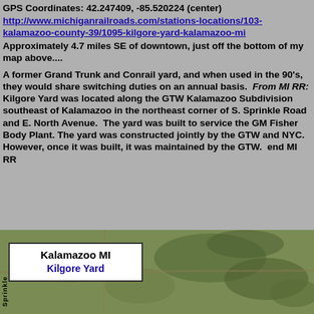GPS Coordinates: 42.247409, -85.520224 (center)
http://www.michiganrailroads.com/stations-locations/103-kalamazoo-county-39/1095-kilgore-yard-kalamazoo-mi
Approximately 4.7 miles SE of downtown, just off the bottom of my map above....
A former Grand Trunk and Conrail yard, and when used in the 90's, they would share switching duties on an annual basis.  From MI RR: Kilgore Yard was located along the GTW Kalamazoo Subdivision southeast of Kalamazoo in the northeast corner of S. Sprinkle Road and E. North Avenue.  The yard was built to service the GM Fisher Body Plant. The yard was constructed jointly by the GTW and NYC.  However, once it was built, it was maintained by the GTW.  end MI RR
[Figure (map): Aerial/satellite map view labeled 'Kalamazoo MI Kilgore Yard' with a white label box on a green-toned terrain background. Vertical text on left side reads 'Sprinkle'.]